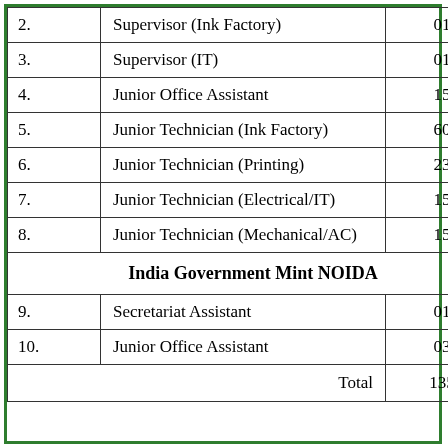| No. | Post | Vacancies |
| --- | --- | --- |
| 2. | Supervisor (Ink Factory) | 01 |
| 3. | Supervisor (IT) | 01 |
| 4. | Junior Office Assistant | 15 |
| 5. | Junior Technician (Ink Factory) | 60 |
| 6. | Junior Technician (Printing) | 23 |
| 7. | Junior Technician (Electrical/IT) | 15 |
| 8. | Junior Technician (Mechanical/AC) | 15 |
| India Government Mint NOIDA |  |  |
| 9. | Secretariat Assistant | 01 |
| 10. | Junior Office Assistant | 03 |
| Total |  | 135 |